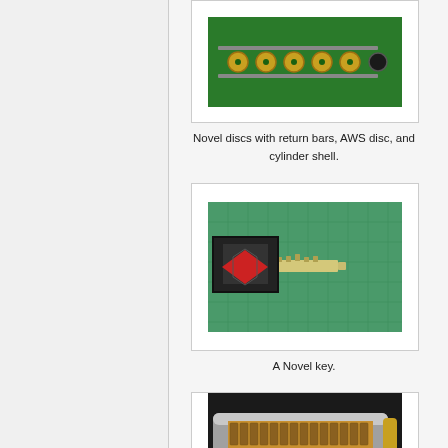[Figure (photo): Photo of novel discs with return bars, AWS disc, and cylinder shell components on a dark background]
Novel discs with return bars, AWS disc, and cylinder shell.
[Figure (photo): Photo of a Novel key with a black triangular bow with red insert, lying on a green cutting mat]
A Novel key.
[Figure (photo): Photo of a cylinder lock cross-section showing internal disc mechanism]